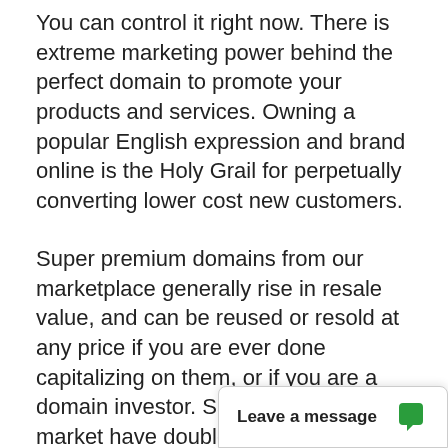You can control it right now. There is extreme marketing power behind the perfect domain to promote your products and services. Owning a popular English expression and brand online is the Holy Grail for perpetually converting lower cost new customers.
Super premium domains from our marketplace generally rise in resale value, and can be reused or resold at any price if you are ever done capitalizing on them, or if you are a domain investor. Sales prices at our market have doubled over the last few years, and likely will again due to worldwide Internet growth, prestige, the general scarcity of super premium .Com domains, historically high demand, and the failure of all competing "gTLDs". We have been in business for over 10 y... premium domains tha...
[Figure (other): Chat widget overlay at bottom right with text 'Leave a message' and a speech bubble icon in green.]